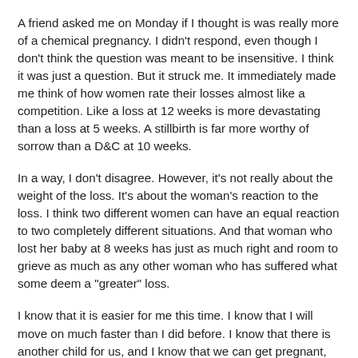A friend asked me on Monday if I thought is was really more of a chemical pregnancy. I didn't respond, even though I don't think the question was meant to be insensitive. I think it was just a question. But it struck me. It immediately made me think of how women rate their losses almost like a competition. Like a loss at 12 weeks is more devastating than a loss at 5 weeks. A stillbirth is far more worthy of sorrow than a D&C at 10 weeks.
In a way, I don't disagree. However, it's not really about the weight of the loss. It's about the woman's reaction to the loss. I think two different women can have an equal reaction to two completely different situations. And that woman who lost her baby at 8 weeks has just as much right and room to grieve as much as any other woman who has suffered what some deem a "greater" loss.
I know that it is easier for me this time. I know that I will move on much faster than I did before. I know that there is another child for us, and I know that we can get pregnant, and that I can successfully carry and deliver a baby. These